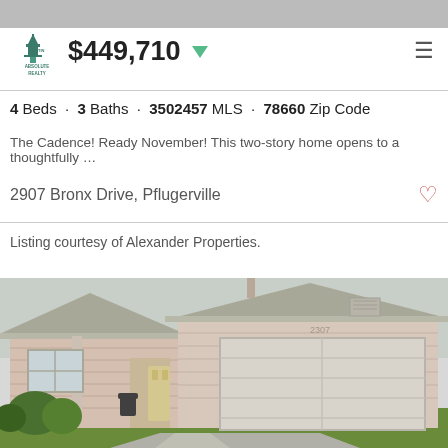[Figure (screenshot): Top browser navigation bar (gray strip)]
[Figure (logo): Austin Absolute Realty logo — building/capitol dome with text]
$449,710 ▼
4 Beds · 3 Baths · 3502457 MLS · 78660 Zip Code
The Cadence! Ready November! This two-story home opens to a thoughtfully ...
2907 Bronx Drive, Pflugerville
Listing courtesy of Alexander Properties.
[Figure (photo): Exterior photo of a single-story brick home with two-car garage, covered entry, green lawn in front, daytime.]